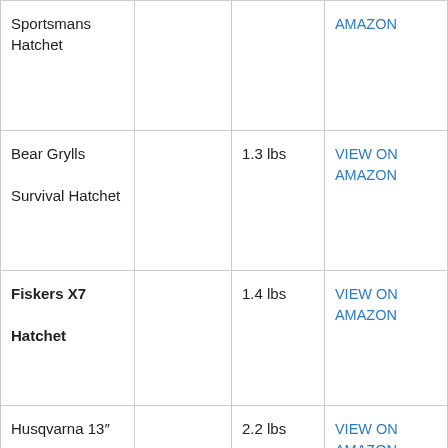| Sportsmans Hatchet |  |  | AMAZON |
| Bear Grylls Survival Hatchet |  | 1.3 lbs | VIEW ON AMAZON |
| Fiskers X7 Hatchet |  | 1.4 lbs | VIEW ON AMAZON |
| Husqvarna 13″ Hatchet |  | 2.2 lbs | VIEW ON AMAZON |